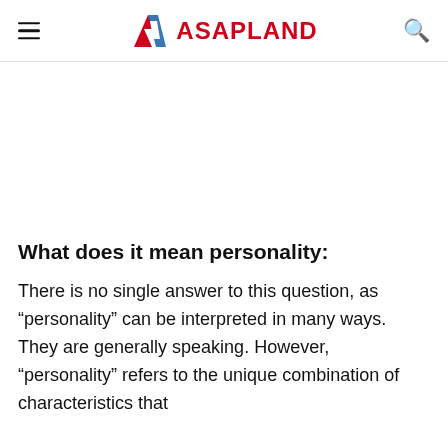ASAPLAND
What does it mean personality:
There is no single answer to this question, as “personality” can be interpreted in many ways. They are generally speaking. However, “personality” refers to the unique combination of characteristics that